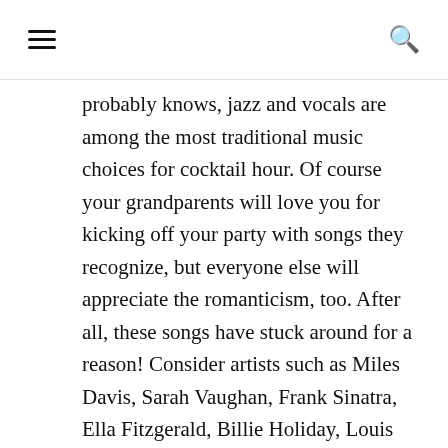≡  🔍
probably knows, jazz and vocals are among the most traditional music choices for cocktail hour. Of course your grandparents will love you for kicking off your party with songs they recognize, but everyone else will appreciate the romanticism, too. After all, these songs have stuck around for a reason! Consider artists such as Miles Davis, Sarah Vaughan, Frank Sinatra, Ella Fitzgerald, Billie Holiday, Louis Armstrong, Nina Simone and Nat King Cole.